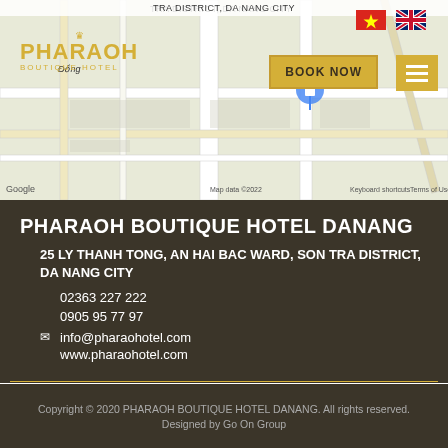[Figure (screenshot): Google Maps screenshot showing location of Pharaoh Boutique Hotel in Da Nang with BOOK NOW button, navigation flag icons, and map controls]
PHARAOH BOUTIQUE HOTEL DANANG
25 LY THANH TONG, AN HAI BAC WARD, SON TRA DISTRICT, DA NANG CITY
02363 227 222
0905 95 77 97
info@pharaohotel.com
www.pharaohotel.com
Copyright © 2020 PHARAOH BOUTIQUE HOTEL DANANG. All rights reserved.
Designed by Go On Group